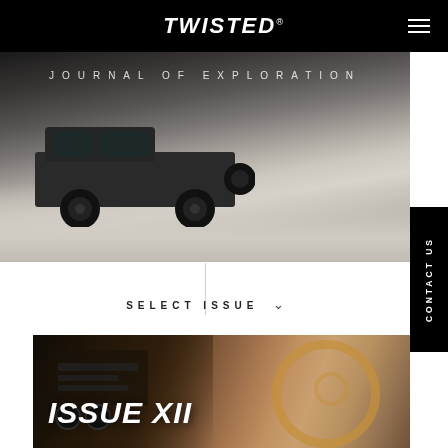TWISTED
[Figure (photo): Hero image of a Land Rover Defender on snowy terrain with text 'JOURNAL OF EXPLORATION' overlaid]
JOURNAL OF EXPLORATION
CONTACT US
SELECT ISSUE
[Figure (photo): Dark interior photo of a vehicle dashboard and steering wheel with 'ISSUE XII' text overlay]